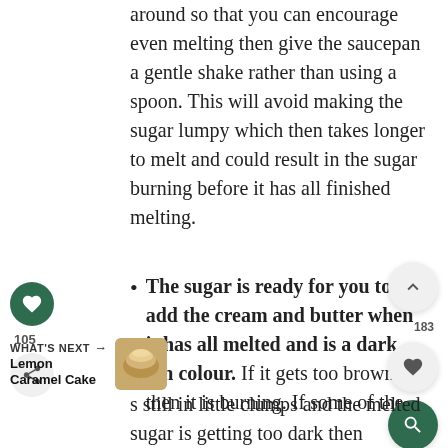around so that you can encourage even melting then give the saucepan a gentle shake rather than using a spoon. This will avoid making the sugar lumpy which then takes longer to melt and could result in the sugar burning before it has all finished melting.
The sugar is ready for you to add the cream and butter when it has all melted and is a dark tan colour. If it gets too brown then it is burning. If some of the s still in little clumps and the melted sugar is getting too dark then